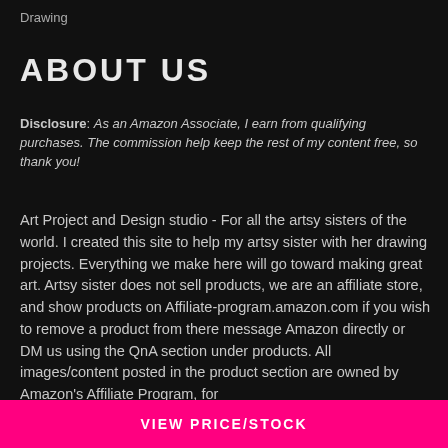Drawing
ABOUT US
Disclosure: As an Amazon Associate, I earn from qualifying purchases. The commission help keep the rest of my content free, so thank you!
Art Project and Design studio - For all the artsy sisters of the world. I created this site to help my artsy sister with her drawing projects. Everything we make here will go toward making great art. Artsy sister does not sell products, we are an affiliate store, and show products on Affiliate-program.amazon.com if you wish to remove a product from there message Amazon directly or DM us using the QnA section under products. All images/content posted in the product section are owned by Amazon's Affiliate Program, for...
VIEW PRICE/STOCK